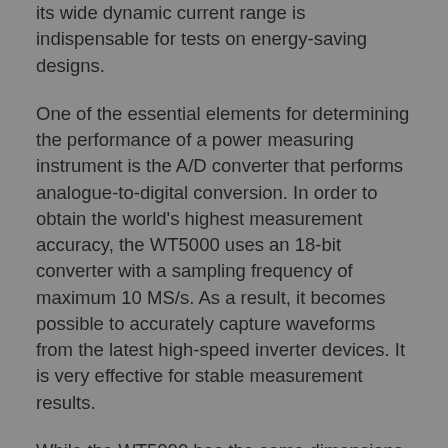its wide dynamic current range is indispensable for tests on energy-saving designs.
One of the essential elements for determining the performance of a power measuring instrument is the A/D converter that performs analogue-to-digital conversion. In order to obtain the world's highest measurement accuracy, the WT5000 uses an 18-bit converter with a sampling frequency of maximum 10 MS/s. As a result, it becomes possible to accurately capture waveforms from the latest high-speed inverter devices. It is very effective for stable measurement results.
While the WT5000 has the same dimensions as existing models in Yokogawa's WT series, it incorporates up to seven input channels, allowing it to support applications that previously could only have been measured by synchronizing several separate instruments. As a result, it offers considerable savings in installation space, communications overheads and cost-effectiveness. Further benefits result from